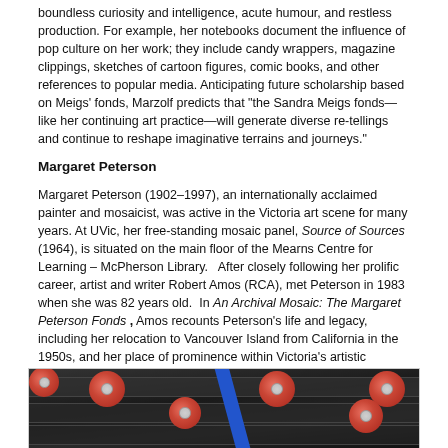boundless curiosity and intelligence, acute humour, and restless production. For example, her notebooks document the influence of pop culture on her work; they include candy wrappers, magazine clippings, sketches of cartoon figures, comic books, and other references to popular media. Anticipating future scholarship based on Meigs' fonds, Marzolf predicts that "the Sandra Meigs fonds—like her continuing art practice—will generate diverse re-tellings and continue to reshape imaginative terrains and journeys."
Margaret Peterson
Margaret Peterson (1902–1997), an internationally acclaimed painter and mosaicist, was active in the Victoria art scene for many years. At UVic, her free-standing mosaic panel, Source of Sources (1964), is situated on the main floor of the Mearns Centre for Learning – McPherson Library.   After closely following her prolific career, artist and writer Robert Amos (RCA), met Peterson in 1983 when she was 82 years old.  In An Archival Mosaic: The Margaret Peterson Fonds , Amos recounts Peterson's life and legacy, including her relocation to Vancouver Island from California in the 1950s, and her place of prominence within Victoria's artistic community.  Amos was instrumental in facilitating the donation of Peterson's archives to UVic Libraries; the resulting donation has consolidated "the record of [her] artistic practice and philosophy" in one location for public access and research.
[Figure (photo): Close-up photograph of dark graduation diploma tubes or rolled documents with red circular seals/stickers on them, with a blue ribbon or stripe visible among them, set against a dark background.]